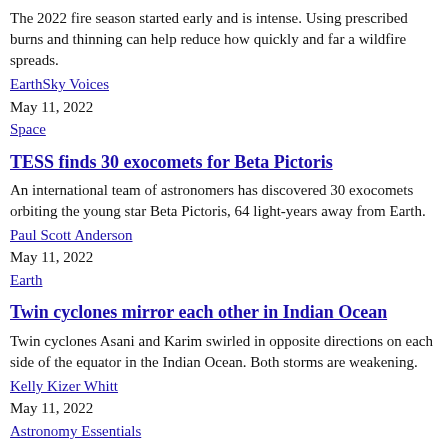The 2022 fire season started early and is intense. Using prescribed burns and thinning can help reduce how quickly and far a wildfire spreads.
EarthSky Voices
May 11, 2022
Space
TESS finds 30 exocomets for Beta Pictoris
An international team of astronomers has discovered 30 exocomets orbiting the young star Beta Pictoris, 64 light-years away from Earth.
Paul Scott Anderson
May 11, 2022
Earth
Twin cyclones mirror each other in Indian Ocean
Twin cyclones Asani and Karim swirled in opposite directions on each side of the equator in the Indian Ocean. Both storms are weakening.
Kelly Kizer Whitt
May 11, 2022
Astronomy Essentials